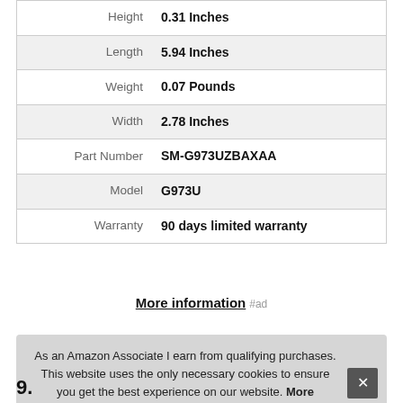|  |  |
| --- | --- |
| Height | 0.31 Inches |
| Length | 5.94 Inches |
| Weight | 0.07 Pounds |
| Width | 2.78 Inches |
| Part Number | SM-G973UZBAXAA |
| Model | G973U |
| Warranty | 90 days limited warranty |
More information #ad
As an Amazon Associate I earn from qualifying purchases. This website uses the only necessary cookies to ensure you get the best experience on our website. More information